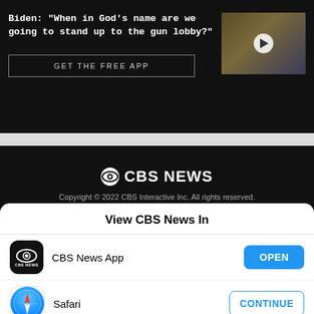Biden: "When in God's name are we going to stand up to the gun lobby?"
GET THE FREE APP
[Figure (photo): Video thumbnail showing Biden at a podium with US flags, play button overlay]
[Figure (logo): CBS News eye logo with text 'CBS NEWS']
Copyright © 2022 CBS Interactive Inc. All rights reserved.
View CBS News In
[Figure (logo): CBS News app icon - black background with CBS eye logo and 'CBS NEWS' text]
CBS News App
OPEN
[Figure (logo): Safari browser app icon - compass on blue gradient background]
Safari
CONTINUE